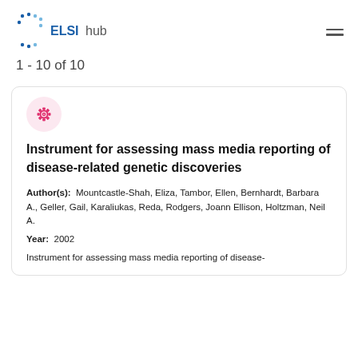ELSI hub
1 - 10 of 10
Instrument for assessing mass media reporting of disease-related genetic discoveries
Author(s): Mountcastle-Shah, Eliza, Tambor, Ellen, Bernhardt, Barbara A., Geller, Gail, Karaliukas, Reda, Rodgers, Joann Ellison, Holtzman, Neil A.
Year: 2002
Instrument for assessing mass media reporting of disease-related genetic discoveries...